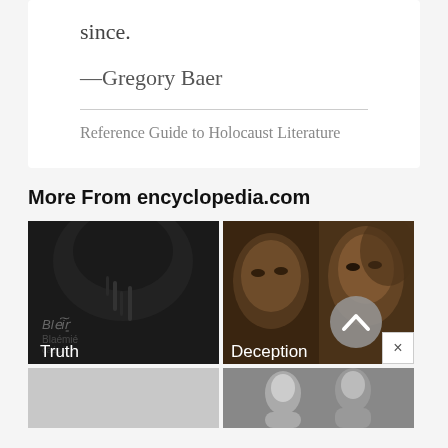since.
—Gregory Baer
Reference Guide to Holocaust Literature
More From encyclopedia.com
[Figure (photo): Black and white dark artistic image with text overlay 'Truth']
[Figure (photo): Movie promotional image with two faces and text overlay 'Deception', with scroll-up button]